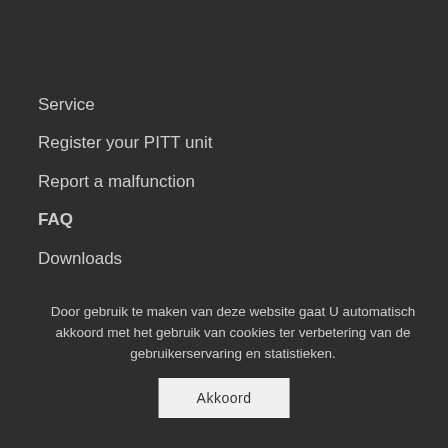Service
Register your PITT unit
Report a malfunction
FAQ
Downloads
Door gebruik te maken van deze website gaat U automatisch akkoord met het gebruik van cookies ter verbetering van de gebruikerservaring en statistieken.
Akkoord